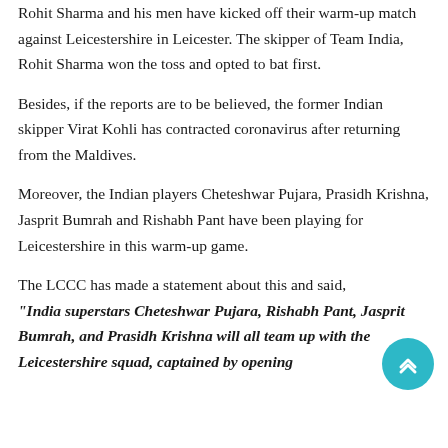Rohit Sharma and his men have kicked off their warm-up match against Leicestershire in Leicester. The skipper of Team India, Rohit Sharma won the toss and opted to bat first.
Besides, if the reports are to be believed, the former Indian skipper Virat Kohli has contracted coronavirus after returning from the Maldives.
Moreover, the Indian players Cheteshwar Pujara, Prasidh Krishna, Jasprit Bumrah and Rishabh Pant have been playing for Leicestershire in this warm-up game.
The LCCC has made a statement about this and said, "India superstars Cheteshwar Pujara, Rishabh Pant, Jasprit Bumrah, and Prasidh Krishna will all team up with the Leicestershire squad, captained by opening